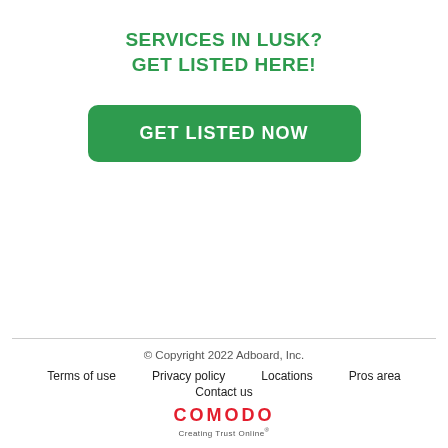SERVICES IN LUSK?
GET LISTED HERE!
[Figure (other): Green rounded rectangle button with white bold text reading GET LISTED NOW]
© Copyright 2022 Adboard, Inc.
Terms of use   Privacy policy   Locations   Pros area   Contact us
COMODO Creating Trust Online®